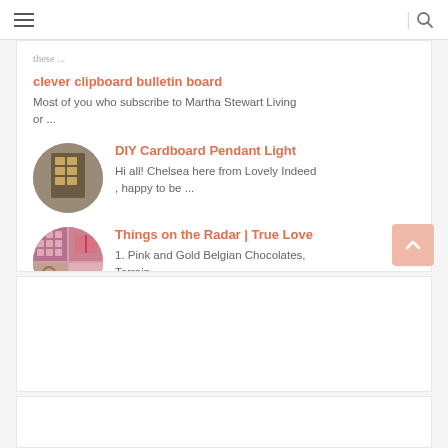≡  |  🔍
these ...
clever clipboard bulletin board
Most of you who subscribe to Martha Stewart Living or ...
[Figure (photo): Circular thumbnail of a DIY cardboard pendant light]
DIY Cardboard Pendant Light
Hi all! Chelsea here from Lovely Indeed , happy to be ...
[Figure (photo): Circular thumbnail collage of pink and gold chocolates and accessories]
Things on the Radar | True Love
1. Pink and Gold Belgian Chocolates, Terrain ...